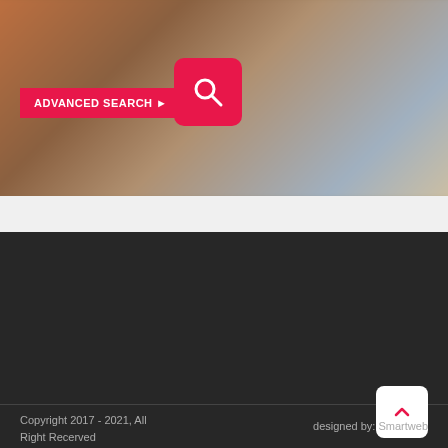[Figure (photo): Blurred background image of what appears to be a harbor or market scene with colorful elements, shown behind the search UI]
ADVANCED SEARCH ▶
CONTACT
(+995) 595 49 24 24
mail@home24.ge
S. Kandelaki Str. N8, 0160 Tbilisi
Copyright 2017 - 2021, All Right Recerved
designed by: Smartweb